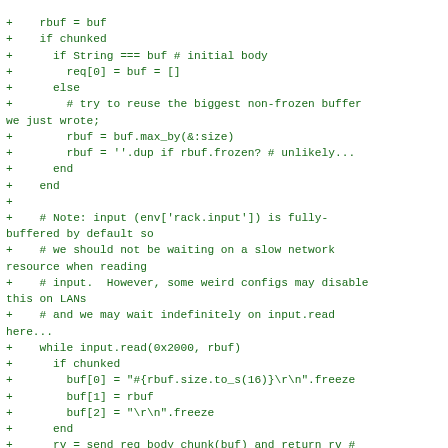Code diff showing Ruby HTTP chunked body reading logic with comments about buffering and network input handling